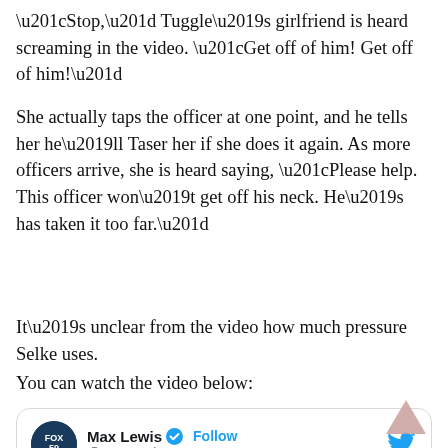“Stop,” Tuggle’s girlfriend is heard screaming in the video. “Get off of him! Get off of him!”
She actually taps the officer at one point, and he tells her he’ll Taser her if she does it again. As more officers arrive, she is heard saying, “Please help. This officer won’t get off his neck. He’s has taken it too far.”
It’s unclear from the video how much pressure Selke uses.
You can watch the video below:
[Figure (screenshot): Embedded tweet from @MaxLewisTV (Max Lewis, verified) with Twitter bird icon and Follow button. Tweet begins: #WATCH: An internal investigation is underway at the Purdue University Police...]